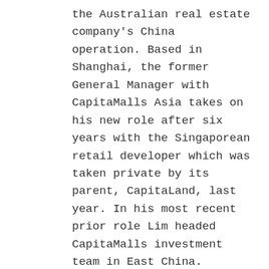the Australian real estate company's China operation. Based in Shanghai, the former General Manager with CapitaMalls Asia takes on his new role after six years with the Singaporean retail developer which was taken private by its parent, CapitaLand, last year. In his most recent prior role Lim headed CapitaMalls investment team in East China.
Erwin Sanft has moved to Australia's Macquarie Group to become Head of China Strategy for the financial services company. The University of Auckland graduate will